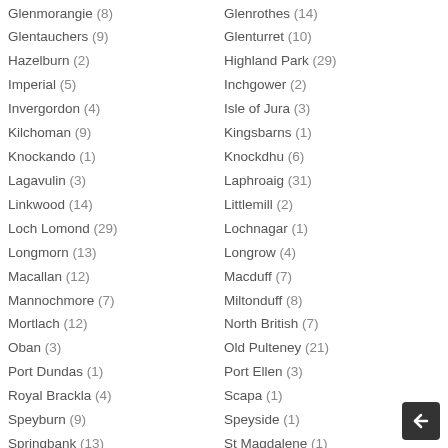Glenmorangie (8)
Glenrothes (14)
Glentauchers (9)
Glenturret (10)
Hazelburn (2)
Highland Park (29)
Imperial (5)
Inchgower (2)
Invergordon (4)
Isle of Jura (3)
Kilchoman (9)
Kingsbarns (1)
Knockando (1)
Knockdhu (6)
Lagavulin (3)
Laphroaig (31)
Linkwood (14)
Littlemill (2)
Loch Lomond (29)
Lochnagar (1)
Longmorn (13)
Longrow (4)
Macallan (12)
Macduff (7)
Mannochmore (7)
Miltonduff (8)
Mortlach (12)
North British (7)
Oban (3)
Old Pulteney (21)
Port Dundas (1)
Port Ellen (3)
Royal Brackla (4)
Scapa (1)
Speyburn (9)
Speyside (1)
Springbank (13)
St Magdalene (1)
Strathclyde (4)
Strathisla (6)